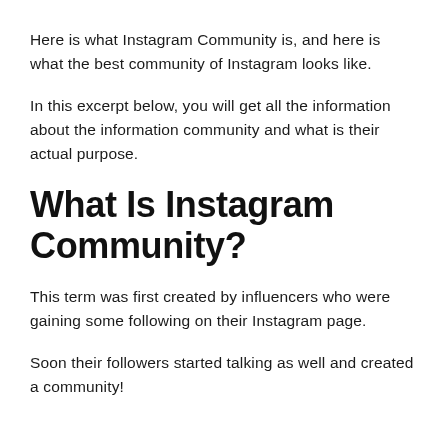Here is what Instagram Community is, and here is what the best community of Instagram looks like.
In this excerpt below, you will get all the information about the information community and what is their actual purpose.
What Is Instagram Community?
This term was first created by influencers who were gaining some following on their Instagram page.
Soon their followers started talking as well and created a community!